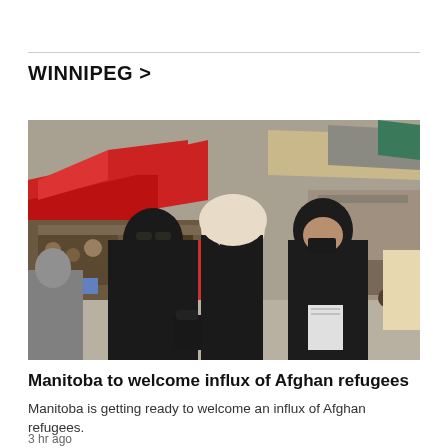WINNIPEG >
[Figure (photo): Three women wearing black hijabs and face masks walk through an outdoor market with red awnings and stalls selling shoes and goods in the background.]
Manitoba to welcome influx of Afghan refugees
Manitoba is getting ready to welcome an influx of Afghan refugees.
3 hr ago